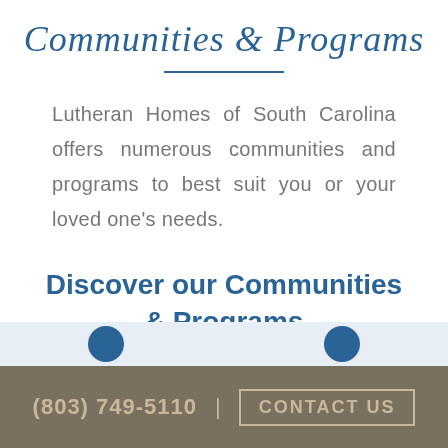Communities & Programs
Lutheran Homes of South Carolina offers numerous communities and programs to best suit you or your loved one's needs.
Discover our Communities & Programs
(803) 749-5110  |  CONTACT US